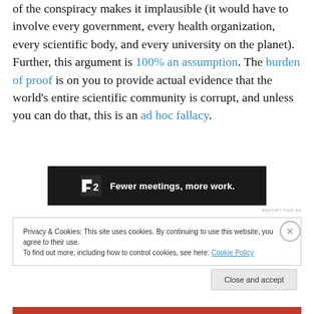of the conspiracy makes it implausible (it would have to involve every government, every health organization, every scientific body, and every university on the planet). Further, this argument is 100% an assumption. The burden of proof is on you to provide actual evidence that the world's entire scientific community is corrupt, and unless you can do that, this is an ad hoc fallacy.
[Figure (other): Advertisement banner: dark background with logo icon and text 'Fewer meetings, more work.' along with a small square logo with '2'.]
REPORT THIS AD
Privacy & Cookies: This site uses cookies. By continuing to use this website, you agree to their use.
To find out more, including how to control cookies, see here: Cookie Policy
Close and accept